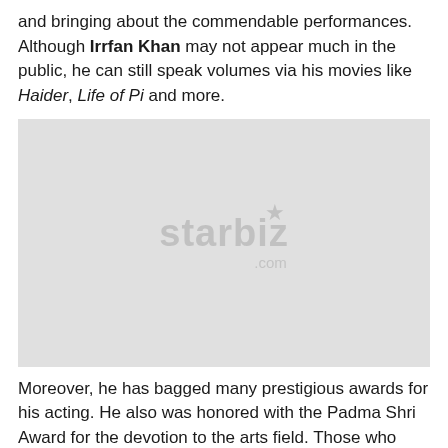and bringing about the commendable performances. Although Irrfan Khan may not appear much in the public, he can still speak volumes via his movies like Haider, Life of Pi and more.
[Figure (photo): Image placeholder with starbiz.com watermark on a light grey background]
Moreover, he has bagged many prestigious awards for his acting. He also was honored with the Padma Shri Award for the devotion to the arts field. Those who have contributed before joining and that